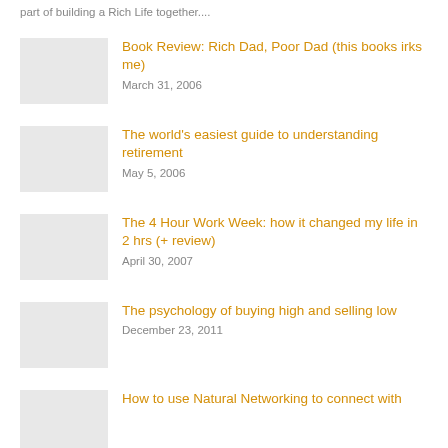part of building a Rich Life together....
Book Review: Rich Dad, Poor Dad (this books irks me) — March 31, 2006
The world's easiest guide to understanding retirement — May 5, 2006
The 4 Hour Work Week: how it changed my life in 2 hrs (+ review) — April 30, 2007
The psychology of buying high and selling low — December 23, 2011
How to use Natural Networking to connect with